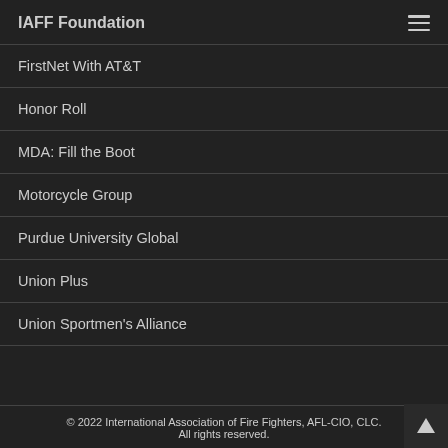IAFF Foundation
FirstNet With AT&T
Honor Roll
MDA: Fill the Boot
Motorcycle Group
Purdue University Global
Union Plus
Union Sportmen's Alliance
© 2022 International Association of Fire Fighters, AFL-CIO, CLC. All rights reserved.